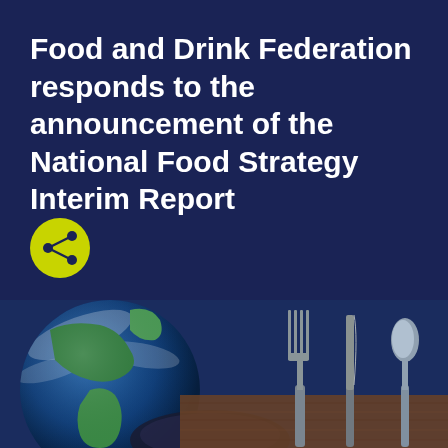Food and Drink Federation responds to the announcement of the National Food Strategy Interim Report
[Figure (illustration): Yellow circular share/social button with share icon on dark navy background]
[Figure (photo): Composite photo showing a globe (Earth from space, showing Americas) alongside a place setting with fork, knife, and spoon on a wooden table surface]